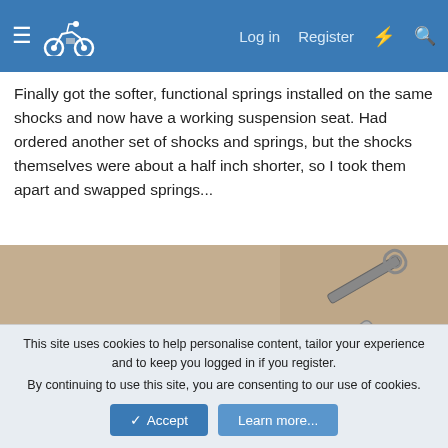Log in  Register
Finally got the softer, functional springs installed on the same shocks and now have a working suspension seat. Had ordered another set of shocks and springs, but the shocks themselves were about a half inch shorter, so I took them apart and swapped springs...
[Figure (photo): Photo of wrenches/tools on a beige carpet surface, with a box-end wrench in foreground and another wrench visible in the upper right, along with a plastic bag of parts]
This site uses cookies to help personalise content, tailor your experience and to keep you logged in if you register. By continuing to use this site, you are consenting to our use of cookies.